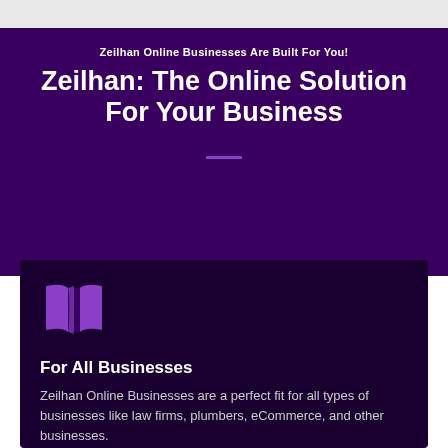Zeilhan Online Businesses Are Built For You!
Zeilhan: The Online Solution For Your Business
[Figure (illustration): Purple book/map icon made of two open pages]
For All Businesses
Zeilhan Online Businesses are a perfect fit for all types of businesses like law firms, plumbers, eCommerce, and other businesses.